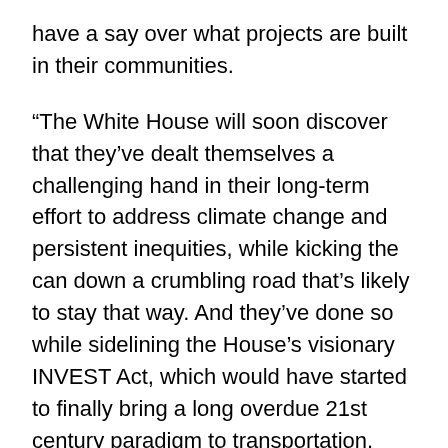have a say over what projects are built in their communities.
“The White House will soon discover that they’ve dealt themselves a challenging hand in their long-term effort to address climate change and persistent inequities, while kicking the can down a crumbling road that’s likely to stay that way. And they’ve done so while sidelining the House’s visionary INVEST Act, which would have started to finally bring a long overdue 21st century paradigm to transportation.
“While we are excited to see a historic amount of funding for transit, the Senate also supercharged the highway program with a historic amount while failing to provide any new accountability for making progress on repair, safety, equity, climate, or jobs access outcomes. And in fact, when comparing this deal to the original bipartisan infrastructure